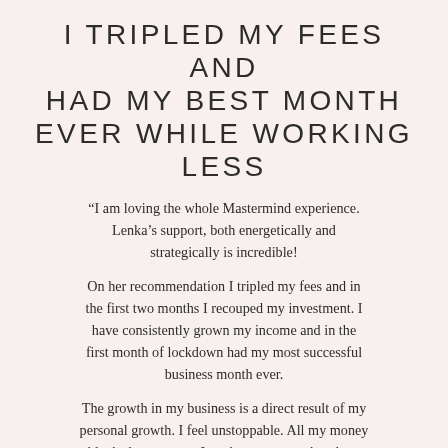I TRIPLED MY FEES AND HAD MY BEST MONTH EVER WHILE WORKING LESS
“I am loving the whole Mastermind experience. Lenka’s support, both energetically and strategically is incredible!
On her recommendation I tripled my fees and in the first two months I recouped my investment. I have consistently grown my income and in the first month of lockdown had my most successful business month ever.
The growth in my business is a direct result of my personal growth. I feel unstoppable. All my money blocks have gone – I can’t even remember them